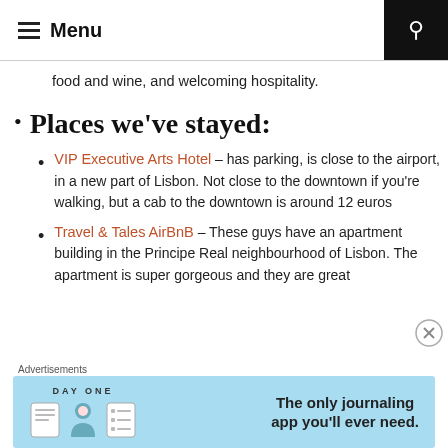Menu
food and wine, and welcoming hospitality.
Places we've stayed:
VIP Executive Arts Hotel – has parking, is close to the airport, in a new part of Lisbon. Not close to the downtown if you're walking, but a cab to the downtown is around 12 euros
Travel & Tales AirBnB – These guys have an apartment building in the Principe Real neighbourhood of Lisbon. The apartment is super gorgeous and they are great
[Figure (infographic): Day One journaling app advertisement banner with blue background, icons, and text: The only journaling app you'll ever need.]